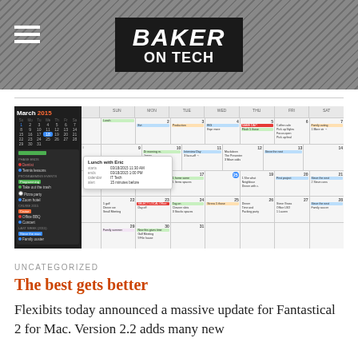BAKER ON TECH
[Figure (screenshot): Screenshot of Fantastical 2 for Mac showing month view for March 2015 with a mini calendar on the left panel and a full monthly calendar grid on the right with various events displayed]
UNCATEGORIZED
The best gets better
Flexibits today announced a massive update for Fantastical 2 for Mac. Version 2.2 adds many new